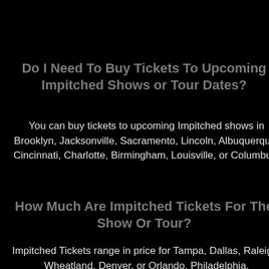Do I Need To Buy Tickets To Upcoming Impitched Shows or Tour Dates?
You can buy tickets to upcoming Impitched shows in Brooklyn, Jacksonville, Sacramento, Lincoln, Albuquerque, Cincinnati, Charlotte, Birmingham, Louisville, or Columbus.
How Much Are Impitched Tickets For The Show Or Tour?
Impitched Tickets range in price for Tampa, Dallas, Raleigh, Wheatland, Denver, or Orlando, Philadelphia,